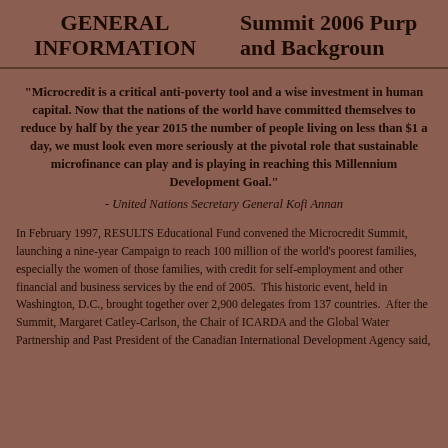GENERAL INFORMATION   Summit 2006 Purpose and Background
“Microcredit is a critical anti-poverty tool and a wise investment in human capital. Now that the nations of the world have committed themselves to reduce by half by the year 2015 the number of people living on less than $1 a day, we must look even more seriously at the pivotal role that sustainable microfinance can play and is playing in reaching this Millennium Development Goal.” - United Nations Secretary General Kofi Annan
In February 1997, RESULTS Educational Fund convened the Microcredit Summit, launching a nine-year Campaign to reach 100 million of the world’s poorest families, especially the women of those families, with credit for self-employment and other financial and business services by the end of 2005.  This historic event, held in Washington, D.C., brought together over 2,900 delegates from 137 countries.  After the Summit, Margaret Catley-Carlson, the Chair of ICARDA and the Global Water Partnership and Past President of the Canadian International Development Agency said,